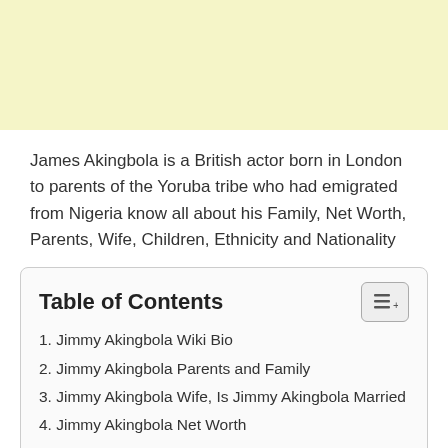[Figure (other): Light yellow/cream colored advertisement banner area at the top of the page]
James Akingbola is a British actor born in London to parents of the Yoruba tribe who had emigrated from Nigeria know all about his Family, Net Worth, Parents, Wife, Children, Ethnicity and Nationality
Table of Contents
1. Jimmy Akingbola Wiki Bio
2. Jimmy Akingbola Parents and Family
3. Jimmy Akingbola Wife, Is Jimmy Akingbola Married
4. Jimmy Akingbola Net Worth
5. Jimmy Akingbola Career
5.1. Frequently Asked Questions About Jimmy Akingbola